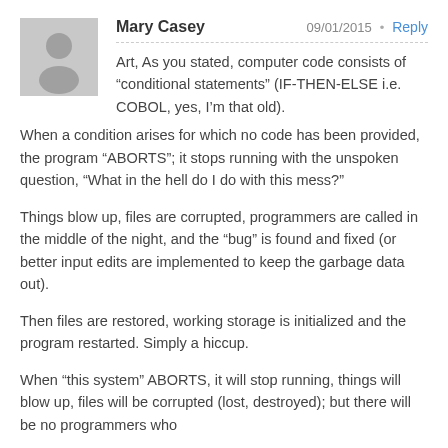Mary Casey   09/01/2015 • Reply
Art, As you stated, computer code consists of “conditional statements” (IF-THEN-ELSE i.e. COBOL, yes, I’m that old).
When a condition arises for which no code has been provided, the program “ABORTS”; it stops running with the unspoken question, “What in the hell do I do with this mess?”
Things blow up, files are corrupted, programmers are called in the middle of the night, and the “bug” is found and fixed (or better input edits are implemented to keep the garbage data out).
Then files are restored, working storage is initialized and the program restarted. Simply a hiccup.
When “this system” ABORTS, it will stop running, things will blow up, files will be corrupted (lost, destroyed); but there will be no programmers who